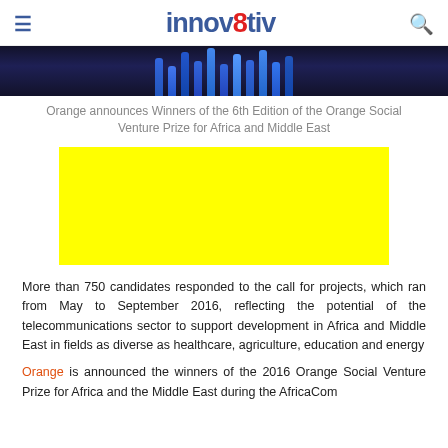innov8tiv
[Figure (photo): Dark background image with blue glowing objects arranged in a row]
Orange announces Winners of the 6th Edition of the Orange Social Venture Prize for Africa and Middle East
[Figure (other): Yellow highlighted rectangle block (redacted/placeholder image)]
More than 750 candidates responded to the call for projects, which ran from May to September 2016, reflecting the potential of the telecommunications sector to support development in Africa and Middle East in fields as diverse as healthcare, agriculture, education and energy
Orange is announced the winners of the 2016 Orange Social Venture Prize for Africa and the Middle East during the AfricaCom